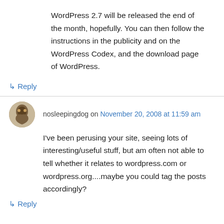WordPress 2.7 will be released the end of the month, hopefully. You can then follow the instructions in the publicity and on the WordPress Codex, and the download page of WordPress.
↳ Reply
nosleepingdog on November 20, 2008 at 11:59 am
I've been perusing your site, seeing lots of interesting/useful stuff, but am often not able to tell whether it relates to wordpress.com or wordpress.org....maybe you could tag the posts accordingly?
↳ Reply